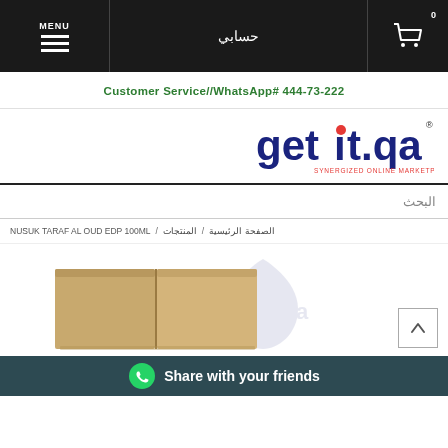MENU | حسابي | cart
Customer Service//WhatsApp# 444-73-222
[Figure (logo): getit.qa logo with tagline SYNERGIZED ONLINE MARKETPLACE]
البحث
الصفحة الرئيسية / المنتجات / NUSUK TARAF AL OUD EDP 100ML
[Figure (photo): Product image of Nusuk Taraf Al Oud EDP 100ML in beige/tan box packaging, with getit.qa watermark in background]
Share with your friends